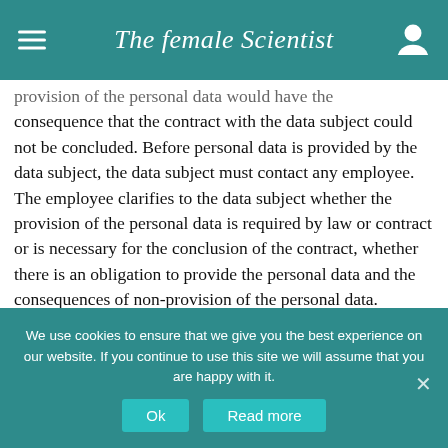The female Scientist
provision of the personal data would have the consequence that the contract with the data subject could not be concluded. Before personal data is provided by the data subject, the data subject must contact any employee. The employee clarifies to the data subject whether the provision of the personal data is required by law or contract or is necessary for the conclusion of the contract, whether there is an obligation to provide the personal data and the consequences of non-provision of the personal data.
17. Existence of automated decision-making
We use cookies to ensure that we give you the best experience on our website. If you continue to use this site we will assume that you are happy with it.